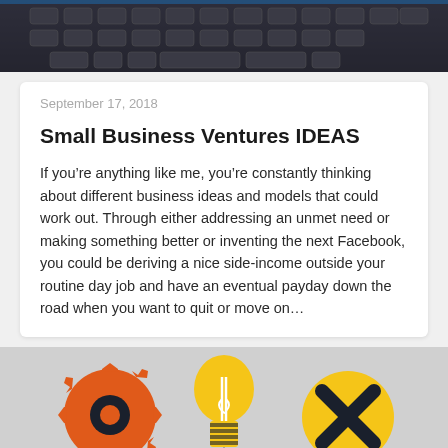[Figure (photo): Top portion of a photo showing a laptop keyboard, close-up, dark tones]
September 17, 2018
Small Business Ventures IDEAS
If you’re anything like me, you’re constantly thinking about different business ideas and models that could work out. Through either addressing an unmet need or making something better or inventing the next Facebook, you could be deriving a nice side-income outside your routine day job and have an eventual payday down the road when you want to quit or move on…
[Figure (illustration): Illustration on grey background showing three icons: an orange gear/cog on the left, a yellow lightbulb in the center, and a yellow coin/circle with dark X mark on the right. A dark rocket shape is partially visible at the bottom center.]